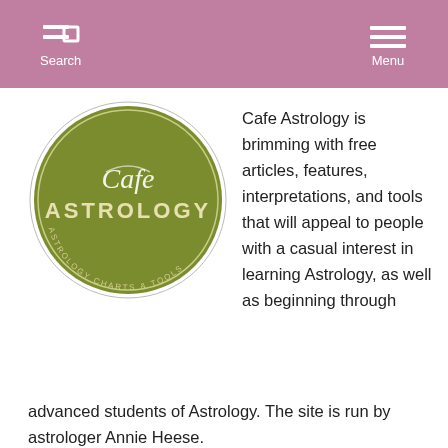Search  Menu
[Figure (logo): Cafe Astrology circular logo — olive green circle with 'Cafe Astrology' text and subtitle 'Astrology Charts & Tools']
Cafe Astrology is brimming with free articles, features, interpretations, and tools that will appeal to people with a casual interest in learning Astrology, as well as beginning through advanced students of Astrology. The site is run by astrologer Annie Heese.
L i n k s
Home
About